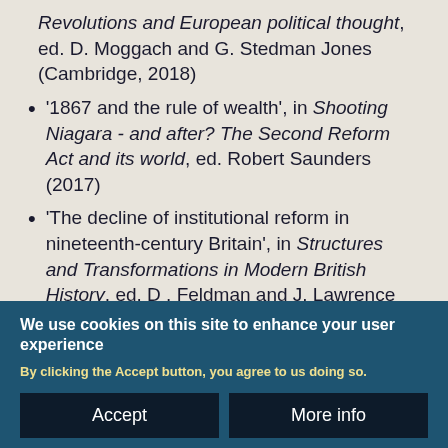Revolutions and European political thought, ed. D. Moggach and G. Stedman Jones (Cambridge, 2018)
'1867 and the rule of wealth', in Shooting Niagara - and after? The Second Reform Act and its world, ed. Robert Saunders (2017)
'The decline of institutional reform in nineteenth-century Britain', in Structures and Transformations in Modern British History, ed. D . Feldman and J. Lawrence (Cambridge, 2011)
We use cookies on this site to enhance your user experience
By clicking the Accept button, you agree to us doing so.